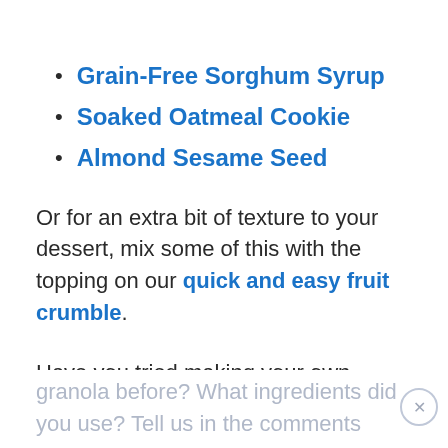Grain-Free Sorghum Syrup
Soaked Oatmeal Cookie
Almond Sesame Seed
Or for an extra bit of texture to your dessert, mix some of this with the topping on our quick and easy fruit crumble.
Have you tried making your own granola before? What ingredients did you use? Tell us in the comments